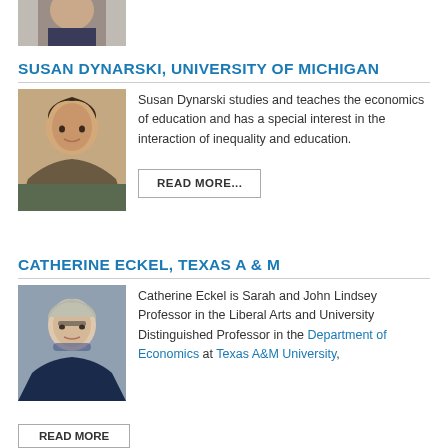[Figure (photo): Partial photo of a person visible at the top of the page, cropped]
SUSAN DYNARSKI, UNIVERSITY OF MICHIGAN
[Figure (photo): Portrait photo of Susan Dynarski]
Susan Dynarski studies and teaches the economics of education and has a special interest in the interaction of inequality and education.
READ MORE...
CATHERINE ECKEL, TEXAS A & M
[Figure (photo): Portrait photo of Catherine Eckel]
Catherine Eckel is Sarah and John Lindsey Professor in the Liberal Arts and University Distinguished Professor in the Department of Economics at Texas A&M University,
READ MORE